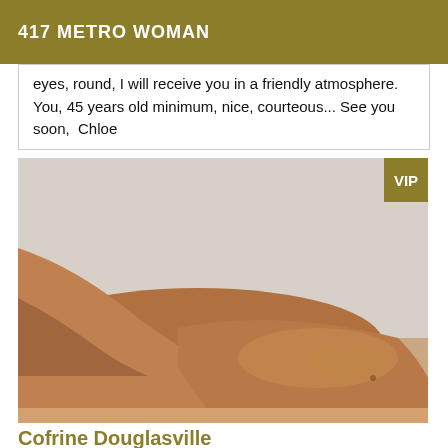417 METRO WOMAN
eyes, round, I will receive you in a friendly atmosphere. You, 45 years old minimum, nice, courteous... See you soon,  Chloe
[Figure (photo): Photo of a person lying down, partial view, warm tones, with a VIP badge in the top right corner]
Cofrine Douglasville